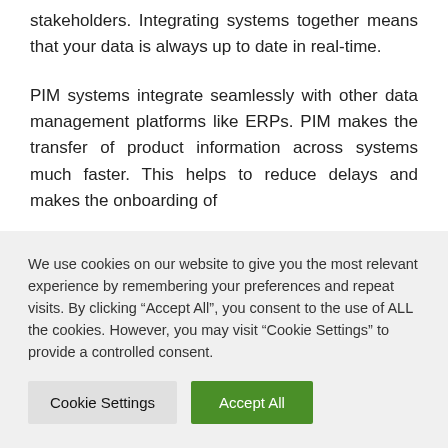stakeholders. Integrating systems together means that your data is always up to date in real-time.
PIM systems integrate seamlessly with other data management platforms like ERPs. PIM makes the transfer of product information across systems much faster. This helps to reduce delays and makes the onboarding of
We use cookies on our website to give you the most relevant experience by remembering your preferences and repeat visits. By clicking “Accept All”, you consent to the use of ALL the cookies. However, you may visit "Cookie Settings" to provide a controlled consent.